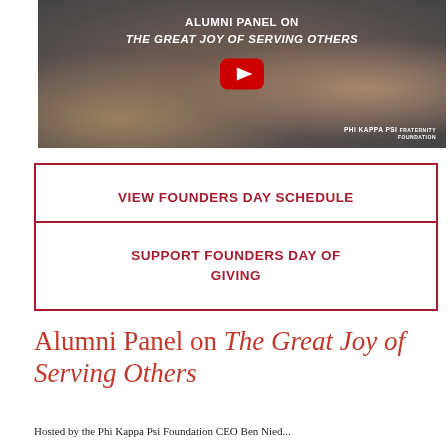[Figure (photo): Video thumbnail showing people sorting canned food with text overlay 'ALUMNI PANEL ON THE GREAT JOY OF SERVING OTHERS' and YouTube play button. Phi Kappa Psi Fraternity Foundation watermark in bottom right.]
VIEW FOUNDERS DAY SCHEDULE
SUPPORT FOUNDERS DAY OF GIVING
Alumni Panel on The Great Joy of Serving Others
Hosted by the Phi Kappa Psi Foundation CEO Ben Nied...